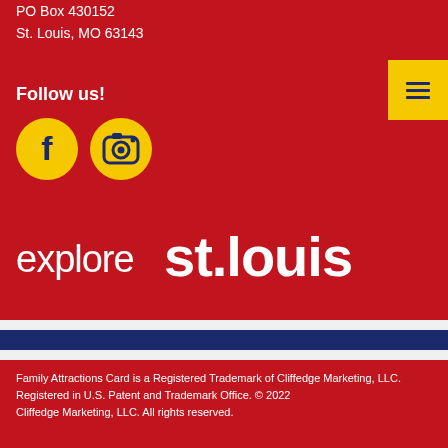PO Box 430152
St. Louis, MO 63143
Follow us!
[Figure (logo): Facebook icon (yellow circle with dark blue 'f' letter) and Instagram icon (yellow circle with dark blue camera outline)]
[Figure (logo): explore st.louis logo in white text on red background]
Family Attractions Card is a Registered Trademark of Cliffedge Marketing, LLC. Registered in U.S. Patent and Trademark Office. © 2022 Cliffedge Marketing, LLC. All rights reserved.